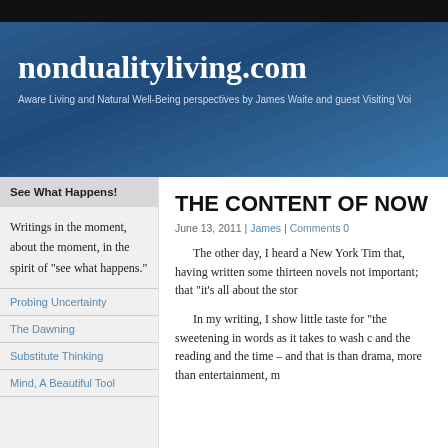nondualityliving.com
Aware Living and Natural Well-Being perspectives by James Waite and guest Visiting Voi
See What Happens!
Writings in the moment, about the moment, in the spirit of "see what happens."
Probing Uncertainty
The Dawning
Substitute Thinking
Mind, A Beautiful Tool
THE CONTENT OF NOW
June 13, 2011 | James | Comments 0
The other day, I heard a New York Tim that, having written some thirteen novels not important; that “it’s all about the stor
In my writing, I show little taste for “the sweetening in words as it takes to wash c and the reading and the time – and that is than drama, more than entertainment, m